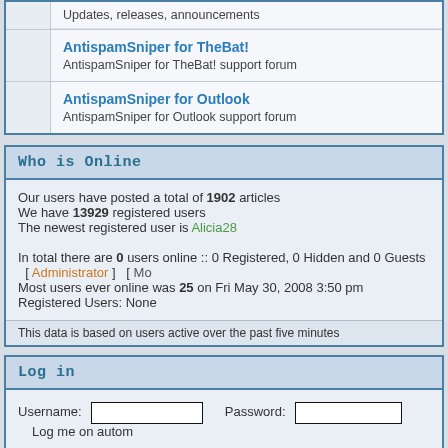Updates, releases, announcements
AntispamSniper for TheBat!
AntispamSniper for TheBat! support forum
AntispamSniper for Outlook
AntispamSniper for Outlook support forum
Who is Online
Our users have posted a total of 1902 articles
We have 13929 registered users
The newest registered user is Alicia28
In total there are 0 users online :: 0 Registered, 0 Hidden and 0 Guests  [ Administrator ]  [ Mo
Most users ever online was 25 on Fri May 30, 2008 3:50 pm
Registered Users: None
This data is based on users active over the past five minutes
Log in
Username:    Password:    Log me on autom
New posts    No new posts    Forum is
Powered by phpBB © 2001, 2005 phpBB Group